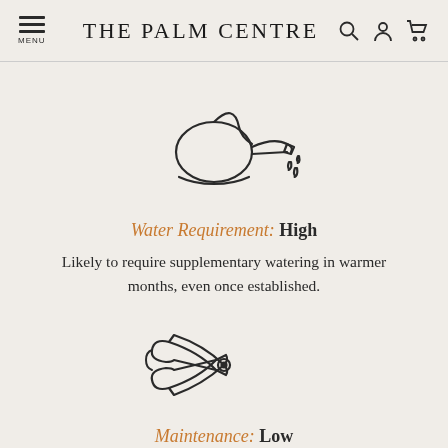THE PALM CENTRE
[Figure (illustration): Line drawing icon of a watering can with water drops falling from the spout]
Water Requirement: High
Likely to require supplementary watering in warmer months, even once established.
[Figure (illustration): Line drawing icon of pruning shears/secateurs]
Maintenance: Low
Minimal skill is required to keep the plant in...